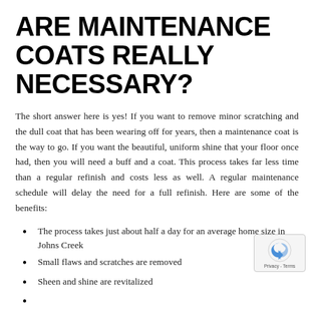ARE MAINTENANCE COATS REALLY NECESSARY?
The short answer here is yes! If you want to remove minor scratching and the dull coat that has been wearing off for years, then a maintenance coat is the way to go. If you want the beautiful, uniform shine that your floor once had, then you will need a buff and a coat. This process takes far less time than a regular refinish and costs less as well. A regular maintenance schedule will delay the need for a full refinish. Here are some of the benefits:
The process takes just about half a day for an average home size in Johns Creek
Small flaws and scratches are removed
Sheen and shine are revitalized
…